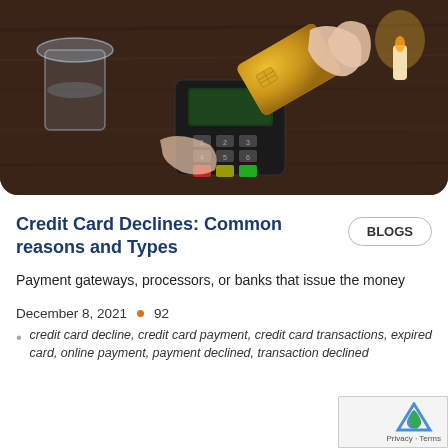[Figure (photo): Person holding a gold credit card over a POS payment terminal on a dark wooden table, with glasses in background]
Credit Card Declines: Common reasons and Types
BLOGS
Payment gateways, processors, or banks that issue the money
December 8, 2021   •   92
credit card decline, credit card payment, credit card transactions, expired card, online payment, payment declined, transaction declined